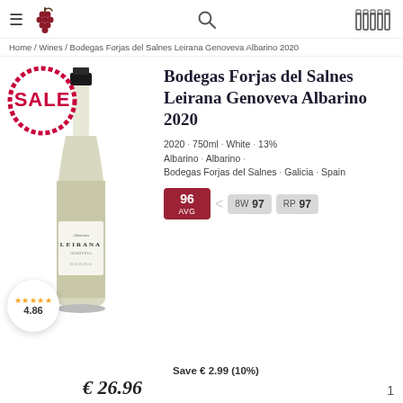≡  🍇  [search]  [bottles]
Home / Wines / Bodegas Forjas del Salnes Leirana Genoveva Albarino 2020
[Figure (photo): White wine bottle for Bodegas Forjas del Salnes Leirana Genoveva Albarino 2020 with a circular SALE stamp in red/white overlay and a rating bubble showing 4.86 stars at bottom left]
Bodegas Forjas del Salnes Leirana Genoveva Albarino 2020
2020 · 750ml · White · 13%
Albarino · Albarino ·
Bodegas Forjas del Salnes · Galicia · Spain
96 AVG   8W 97   RP 97
★★★★★  4.86   Save € 2.99 (10%)
€ 26.96